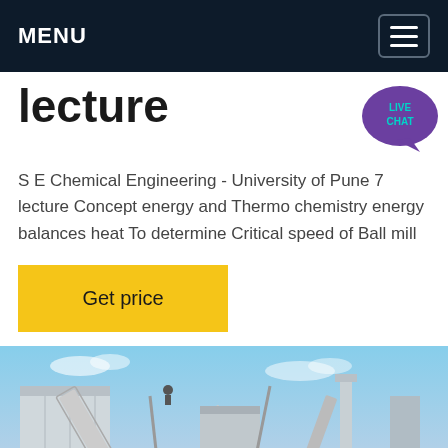MENU
lecture
S E Chemical Engineering - University of Pune 7 lecture Concept energy and Thermo chemistry energy balances heat To determine Critical speed of Ball mill
Get price
[Figure (photo): Industrial facility with conveyor belts, silos, and heavy equipment under a blue sky. A yellow square is visible in the bottom-right corner.]